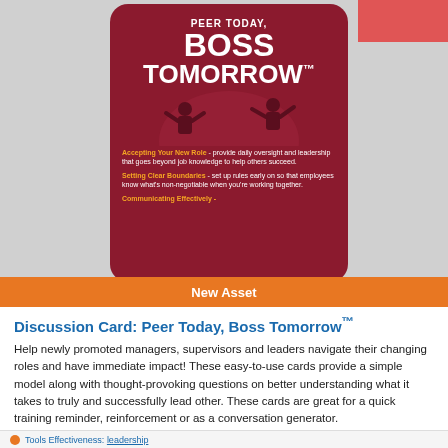[Figure (illustration): Book/card cover image for 'Peer Today, Boss Tomorrow' showing a dark red card with white bold title text and silhouette figures, with bullet points about Accepting Your New Role, Setting Clear Boundaries, and Communicating Effectively]
New Asset
Discussion Card: Peer Today, Boss Tomorrow™
Help newly promoted managers, supervisors and leaders navigate their changing roles and have immediate impact! These easy-to-use cards provide a simple model along with thought-provoking questions on better understanding what it takes to truly and successfully lead other. These cards are great for a quick training reminder, reinforcement or as a conversation generator.
Tools Effectiveness: leadership